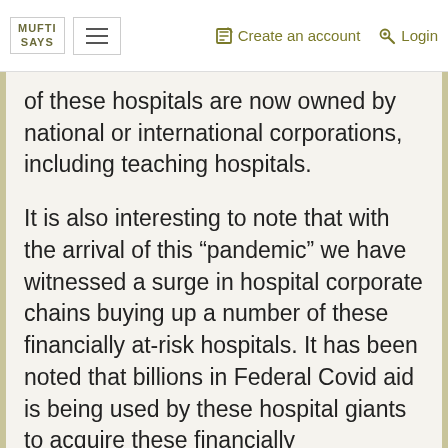MUFTI SAYS | Create an account | Login
of these hospitals are now owned by national or international corporations, including teaching hospitals.
It is also interesting to note that with the arrival of this “pandemic” we have witnessed a surge in hospital corporate chains buying up a number of these financially at-risk hospitals. It has been noted that billions in Federal Covid aid is being used by these hospital giants to acquire these financially endangered hospitals, further increasing the power of corporate medicine over physician independence. Physicians expelled from